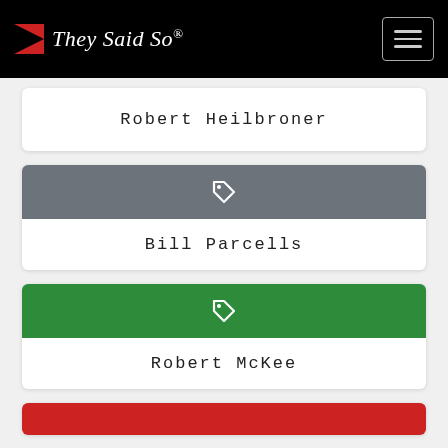They Said So®
Robert Heilbroner
[Figure (other): Gray tag/label icon bar for Bill Parcells card]
Bill Parcells
[Figure (other): Green tag/label icon bar for Robert McKee card]
Robert McKee
[Figure (other): Red tag/label icon bar for next card]